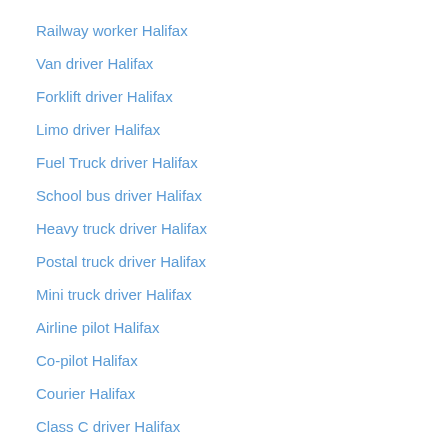Railway worker Halifax
Van driver Halifax
Forklift driver Halifax
Limo driver Halifax
Fuel Truck driver Halifax
School bus driver Halifax
Heavy truck driver Halifax
Postal truck driver Halifax
Mini truck driver Halifax
Airline pilot Halifax
Co-pilot Halifax
Courier Halifax
Class C driver Halifax
Class D driver Halifax
Class B driver Halifax